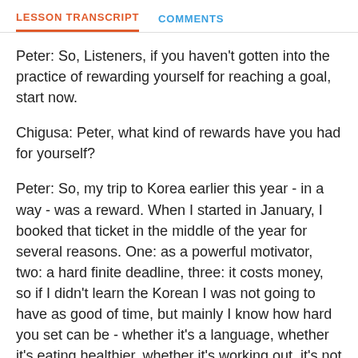LESSON TRANSCRIPT   COMMENTS
Peter: So, Listeners, if you haven't gotten into the practice of rewarding yourself for reaching a goal, start now.
Chigusa: Peter, what kind of rewards have you had for yourself?
Peter: So, my trip to Korea earlier this year - in a way - was a reward. When I started in January, I booked that ticket in the middle of the year for several reasons. One: as a powerful motivator, two: a hard finite deadline, three: it costs money, so if I didn't learn the Korean I was not going to have as good of time, but mainly I know how hard you set can be - whether it's a language, whether it's eating healthier, whether it's working out, it's not easy. Chigusa, agree or disagree?